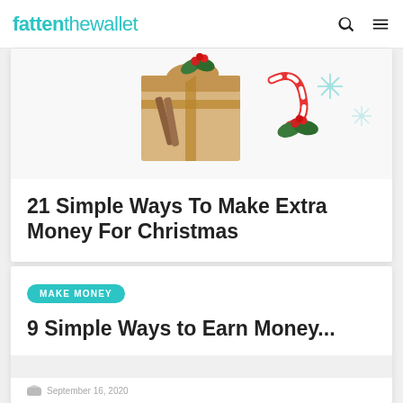fattenthewallet
[Figure (photo): Christmas gift box wrapped in brown paper with red berries, holly, cinnamon sticks, and a candy cane on white background with snowflake decorations]
21 Simple Ways To Make Extra Money For Christmas
MAKE MONEY
9 Simple Ways to Earn Money...